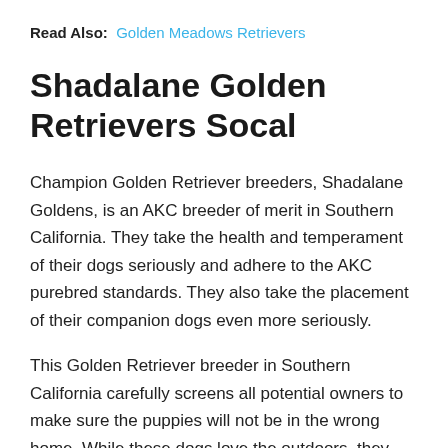Read Also: Golden Meadows Retrievers
Shadalane Golden Retrievers Socal
Champion Golden Retriever breeders, Shadalane Goldens, is an AKC breeder of merit in Southern California. They take the health and temperament of their dogs seriously and adhere to the AKC purebred standards. They also take the placement of their companion dogs even more seriously.
This Golden Retriever breeder in Southern California carefully screens all potential owners to make sure the puppies will not be in the wrong home. While these dogs love the outdoors, they are not to be left out in a yard alone all of the time. Thus, they have quite an extensive questionnaire and